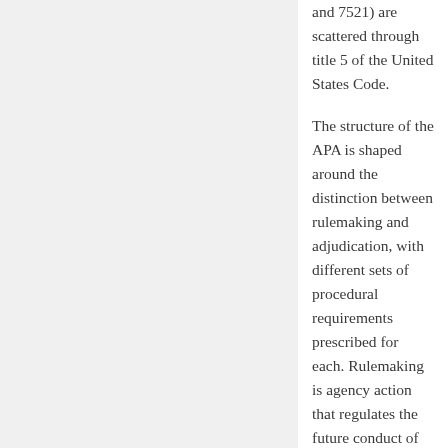and 7521) are scattered through title 5 of the United States Code.
The structure of the APA is shaped around the distinction between rulemaking and adjudication, with different sets of procedural requirements prescribed for each. Rulemaking is agency action that regulates the future conduct of persons